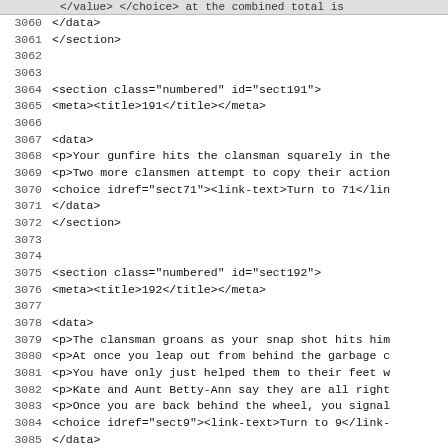3059 (truncated top bar line)
3060     </data>
3061     </section>
3062
3063
3064     <section class="numbered" id="sect191">
3065     <meta><title>191</title></meta>
3066
3067     <data>
3068      <p>Your gunfire hits the clansman squarely in the
3069      <p>Two more clansmen attempt to copy their action
3070      <choice idref="sect71"><link-text>Turn to 71</lin
3071     </data>
3072     </section>
3073
3074
3075     <section class="numbered" id="sect192">
3076     <meta><title>192</title></meta>
3077
3078     <data>
3079      <p>The clansman groans as your snap shot hits him
3080      <p>At once you leap out from behind the garbage c
3081      <p>You have only just helped them to their feet w
3082      <p>Kate and Aunt Betty-Ann say they are all right
3083      <p>Once you are back behind the wheel, you signal
3084      <choice idref="sect9"><link-text>Turn to 9</link-
3085     </data>
3086     </section>
3087
3088
3089     <section class="numbered" id="sect193">
3090     <meta><title>193</title></meta>
3091